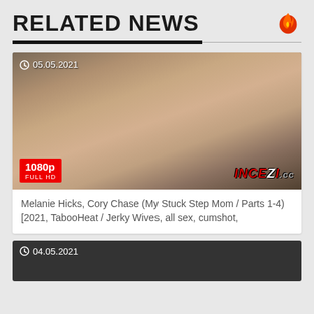RELATED NEWS
[Figure (photo): Thumbnail image of adult video content dated 05.05.2021, with 1080p FULL HD badge and INCEZI.cc watermark]
Melanie Hicks, Cory Chase (My Stuck Step Mom / Parts 1-4) [2021, TabooHeat / Jerky Wives, all sex, cumshot,
[Figure (photo): Thumbnail image of adult video content dated 04.05.2021]